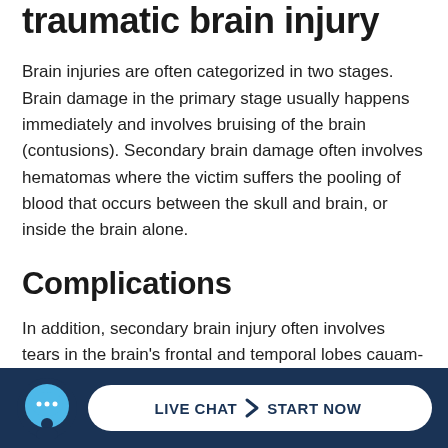traumatic brain injury
Brain injuries are often categorized in two stages. Brain damage in the primary stage usually happens immediately and involves bruising of the brain (contusions). Secondary brain damage often involves hematomas where the victim suffers the pooling of blood that occurs between the skull and brain, or inside the brain alone.
Complications
In addition, secondary brain injury often involves tears in the brain's frontal and temporal lobes cau...am...fer
[Figure (infographic): Live chat widget footer bar with chat bubble icon and a white pill-shaped button reading LIVE CHAT > START NOW on a dark navy background]